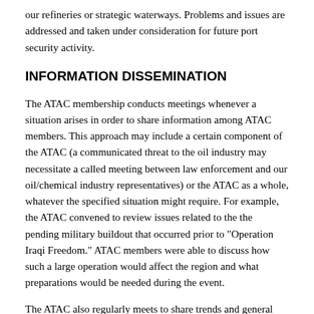our refineries or strategic waterways. Problems and issues are addressed and taken under consideration for future port security activity.
INFORMATION DISSEMINATION
The ATAC membership conducts meetings whenever a situation arises in order to share information among ATAC members. This approach may include a certain component of the ATAC (a communicated threat to the oil industry may necessitate a called meeting between law enforcement and our oil/chemical industry representatives) or the ATAC as a whole, whatever the specified situation might require. For example, the ATAC convened to review issues related to the the pending military buildout that occurred prior to "Operation Iraqi Freedom." ATAC members were able to discuss how such a large operation would affect the region and what preparations would be needed during the event.
The ATAC also regularly meets to share trends and general information concerning terrorist threats. At these meetings ATAC members often provide status reports of initiatives or recent crisis preparation plans, and the Beaumont-based Joint Terrorism Task Force (JTTF) provides a status report of local investigative activity. Further, these meetings often feature a training component which complements the information sharing aspect of the meeting.